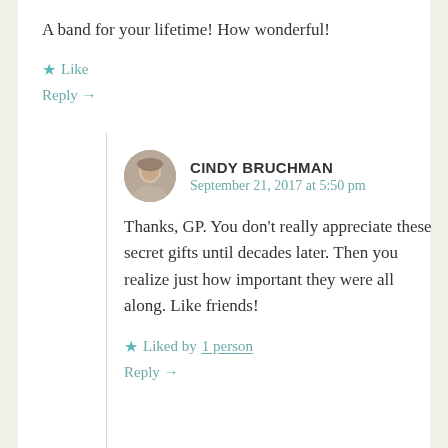A band for your lifetime! How wonderful!
★ Like
Reply →
CINDY BRUCHMAN
September 21, 2017 at 5:50 pm
Thanks, GP. You don't really appreciate these secret gifts until decades later. Then you realize just how important they were all along. Like friends!
★ Liked by 1 person
Reply →